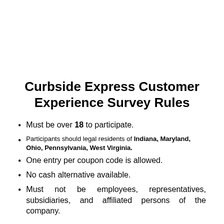Curbside Express Customer Experience Survey Rules
Must be over 18 to participate.
Participants should legal residents of Indiana, Maryland, Ohio, Pennsylvania, West Virginia.
One entry per coupon code is allowed.
No cash alternative available.
Must not be employees, representatives, subsidiaries, and affiliated persons of the company.